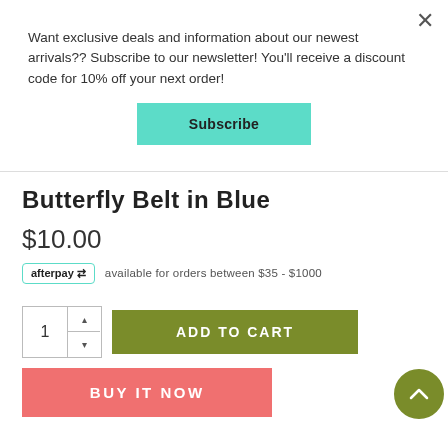Want exclusive deals and information about our newest arrivals?? Subscribe to our newsletter! You'll receive a discount code for 10% off your next order!
Subscribe
Butterfly Belt in Blue
$10.00
afterpay available for orders between $35 - $1000
1  ADD TO CART
BUY IT NOW